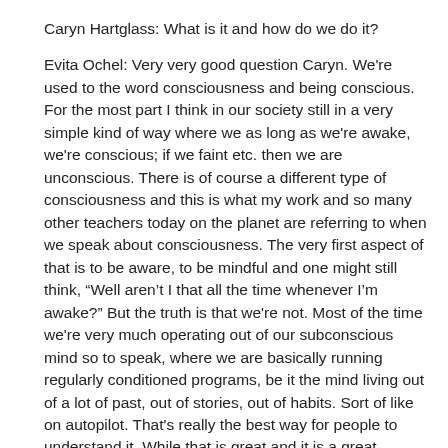Caryn Hartglass: What is it and how do we do it?
Evita Ochel: Very very good question Caryn. We're used to the word consciousness and being conscious. For the most part I think in our society still in a very simple kind of way where we as long as we're awake, we're conscious; if we faint etc. then we are unconscious. There is of course a different type of consciousness and this is what my work and so many other teachers today on the planet are referring to when we speak about consciousness. The very first aspect of that is to be aware, to be mindful and one might still think, “Well aren’t I that all the time whenever I’m awake?” But the truth is that we're not. Most of the time we're very much operating out of our subconscious mind so to speak, where we are basically running regularly conditioned programs, be it the mind living out of a lot of past, out of stories, out of habits. Sort of like on autopilot. That's really the best way for people to understand it. While that is great and it is a great adaptation and part of our evolution to basically live on Planet Earth there of course comes various downsides with this. If we